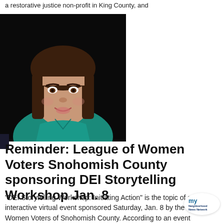a restorative justice non-profit in King County, and
[Figure (photo): Portrait photo of a woman with dark hair and bangs, wearing a teal/green top, against a black background]
Reminder: League of Women Voters Snohomish County sponsoring DEI Storytelling Workshop Jan. 8
“DEI Storytelling Workshop: Initiating Action” is the topic of an interactive virtual event sponsored Saturday, Jan. 8 by the League of Women Voters of Snohomish County. According to an event
[Figure (logo): My Neighborhood News Network logo badge]